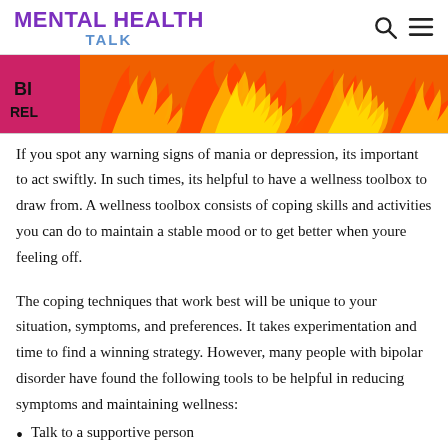MENTAL HEALTH TALK
[Figure (illustration): Banner image showing colorful flame illustration with orange, red, and yellow colors. Left side shows partial text 'BI' and 'REL' on a magenta/pink background.]
If you spot any warning signs of mania or depression, its important to act swiftly. In such times, its helpful to have a wellness toolbox to draw from. A wellness toolbox consists of coping skills and activities you can do to maintain a stable mood or to get better when youre feeling off.
The coping techniques that work best will be unique to your situation, symptoms, and preferences. It takes experimentation and time to find a winning strategy. However, many people with bipolar disorder have found the following tools to be helpful in reducing symptoms and maintaining wellness:
Talk to a supportive person